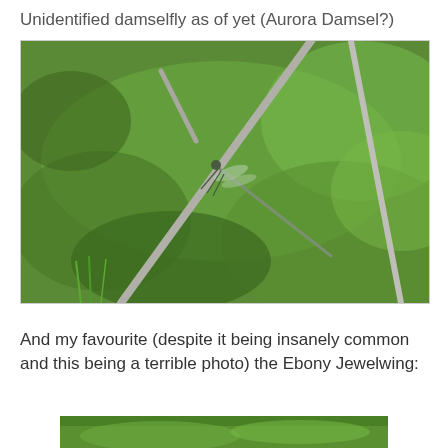Unidentified damselfly as of yet (Aurora Damsel?)
[Figure (photo): Close-up photograph of a damselfly perched on a thin grey twig/branch. The background is blurred green foliage with additional bare branches visible. The damselfly appears greenish-grey and is resting on the branch at the center-left of the image.]
And my favourite (despite it being insanely common and this being a terrible photo) the Ebony Jewelwing:
[Figure (photo): Partial view of a green-background photograph, likely showing the top portion of a photo of an Ebony Jewelwing damselfly.]